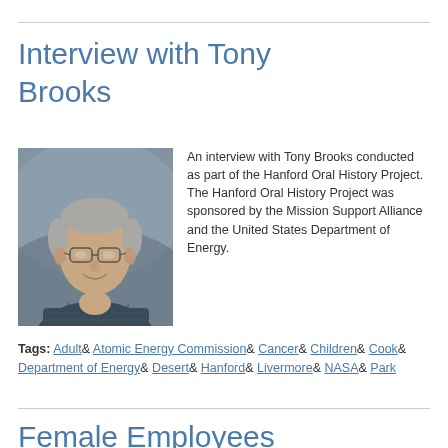Interview with Tony Brooks
[Figure (photo): Portrait photo of Tony Brooks, an older man with gray hair and glasses, wearing a plaid shirt, smiling, with a gray/blue background.]
An interview with Tony Brooks conducted as part of the Hanford Oral History Project. The Hanford Oral History Project was sponsored by the Mission Support Alliance and the United States Department of Energy.
Tags: Adult& Atomic Energy Commission& Cancer& Children& Cook& Department of Energy& Desert& Hanford& Livermore& NASA& Park
Female Employees